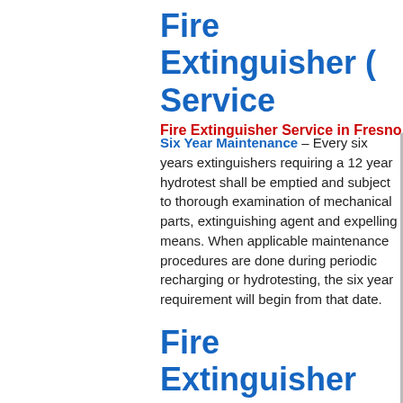Fire Extinguisher ( Service
Fire Extinguisher Service in Fresno,
Six Year Maintenance – Every six years extinguishers requiring a 12 year hydrotest shall be emptied and subject to thorough examination of mechanical parts, extinguishing agent and expelling means. When applicable maintenance procedures are done during periodic recharging or hydrotesting, the six year requirement will begin from that date.
Fire Extinguisher Recharge